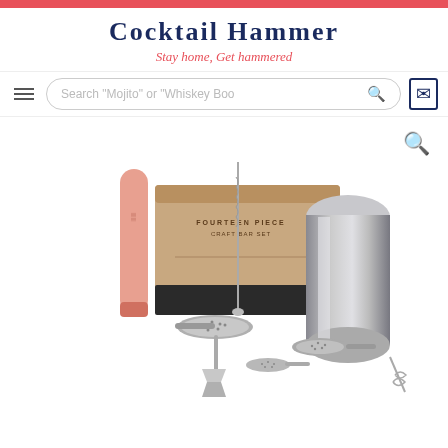Red decorative bar
Cocktail Hammer
Stay home, Get hammered
Search "Mojito" or "Whiskey Boo"
[Figure (photo): Cocktail bar set product photo showing a fourteen piece craft bar set with stainless steel shaker, muddler, bar spoons, strainers, and jigger laid out on a white background with the kraft paper product box visible in the background.]